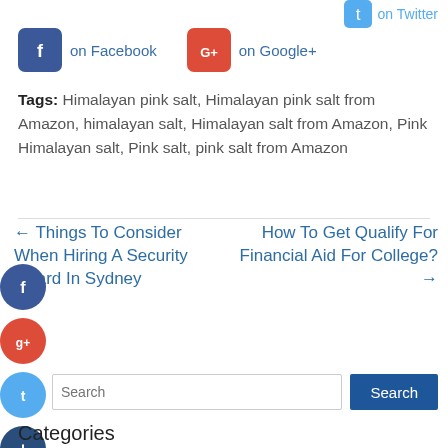Share this post: on Twitter
on Facebook   on Google+
Tags: Himalayan pink salt, Himalayan pink salt from Amazon, himalayan salt, Himalayan salt from Amazon, Pink Himalayan salt, Pink salt, pink salt from Amazon
← Things To Consider When Hiring A Security Guard In Sydney
How To Get Qualify For Financial Aid For College? →
[Figure (logo): Floating social share circles: Facebook (blue), Google+ (red), Twitter (light blue), Plus/More (dark blue)]
Search
Categories